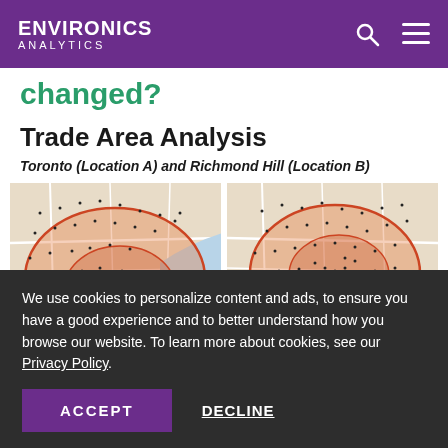ENVIRONICS ANALYTICS
changed?
Trade Area Analysis
Toronto (Location A) and Richmond Hill (Location B)
[Figure (map): Two side-by-side trade area maps showing drive-time or radius trade areas. Left map shows Toronto Location A with a red pin and orange/red shaded trade area polygon overlaid on a street map, with many black dots representing customers or data points. Right map shows Richmond Hill Location B with similar trade area shading and a red pin, also with black dots on a street map background.]
We use cookies to personalize content and ads, to ensure you have a good experience and to better understand how you browse our website. To learn more about cookies, see our Privacy Policy.
ACCEPT
DECLINE